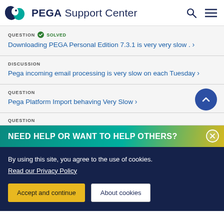PEGA Support Center
QUESTION · SOLVED
Downloading PEGA Personal Edition 7.3.1 is very very slow . >
DISCUSSION
Pega incoming email processing is very slow on each Tuesday >
QUESTION
Pega Platform Import behaving Very Slow >
QUESTION
NEED HELP OR WANT TO HELP OTHERS?
By using this site, you agree to the use of cookies.
Read our Privacy Policy
Accept and continue   About cookies